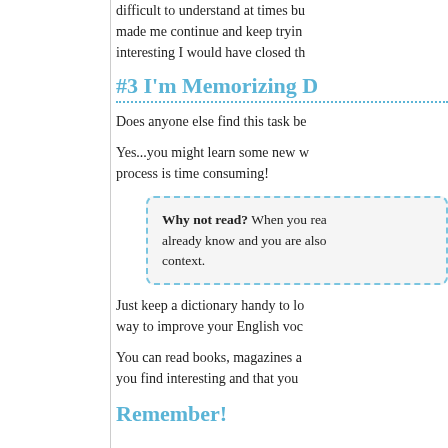difficult to understand at times but what made me continue and keep trying interesting I would have closed th
#3 I'm Memorizing D
Does anyone else find this task be
Yes...you might learn some new w process is time consuming!
Why not read? When you rea already know and you are also context.
Just keep a dictionary handy to lo way to improve your English voc
You can read books, magazines a you find interesting and that you
Remember!